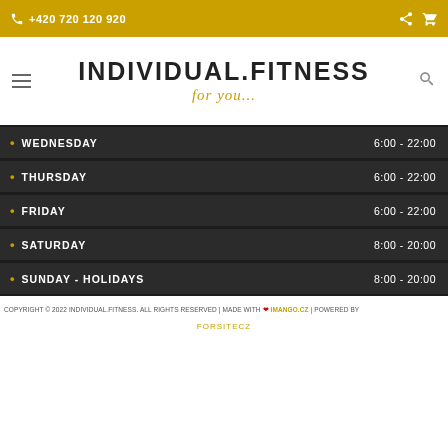+420 720 120 920
[Figure (logo): INDIVIDUAL.FITNESS for you... logo]
WEDNESDAY   6:00 - 22:00
THURSDAY   6:00 - 22:00
FRIDAY   6:00 - 22:00
SATURDAY   8:00 - 20:00
SUNDAY - HOLIDAYS   8:00 - 20:00
COPYRIGHT © 2022 INDIVIDUAL.FITNESS. ALL RIGHTS RESERVED | MADE WITH ❤ IMANGO.CZ | POWERED BY FORSITECZ